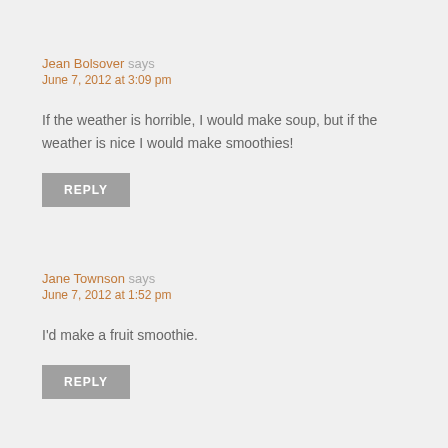Jean Bolsover says
June 7, 2012 at 3:09 pm
If the weather is horrible, I would make soup, but if the weather is nice I would make smoothies!
REPLY
Jane Townson says
June 7, 2012 at 1:52 pm
I'd make a fruit smoothie.
REPLY